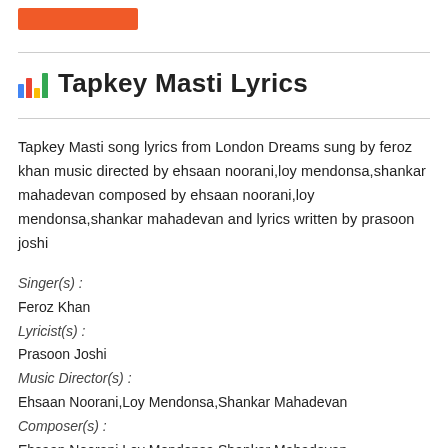[Figure (logo): Orange rectangular bar at top left, resembling a header accent/logo block]
Tapkey Masti Lyrics
Tapkey Masti song lyrics from London Dreams sung by feroz khan music directed by ehsaan noorani,loy mendonsa,shankar mahadevan composed by ehsaan noorani,loy mendonsa,shankar mahadevan and lyrics written by prasoon joshi
Singer(s) :
Feroz Khan
Lyricist(s) :
Prasoon Joshi
Music Director(s) :
Ehsaan Noorani,Loy Mendonsa,Shankar Mahadevan
Composer(s) :
Ehsaan Noorani,Loy Mendonsa,Shankar Mahadevan